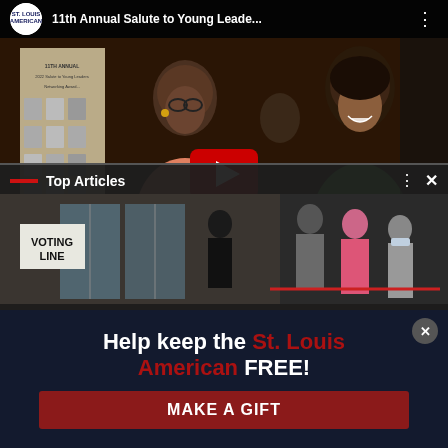[Figure (screenshot): YouTube video thumbnail showing '11th Annual Salute to Young Leade...' with two women posing near a banner, a red YouTube play button in the center. An overlay panel labeled 'Top Articles' appears at the bottom showing a voting line image with people queuing.]
Help keep the St. Louis American FREE!
MAKE A GIFT